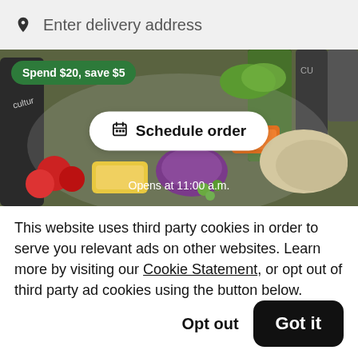Enter delivery address
[Figure (photo): Food image banner showing colorful salad bowl toppings including tomatoes, corn, purple cabbage, carrots, and chicken with green drink bottles. Has a green promo badge 'Spend $20, save $5', a white pill-shaped 'Schedule order' button, and 'Opens at 11:00 a.m.' text overlay.]
This website uses third party cookies in order to serve you relevant ads on other websites. Learn more by visiting our Cookie Statement, or opt out of third party ad cookies using the button below.
Opt out
Got it